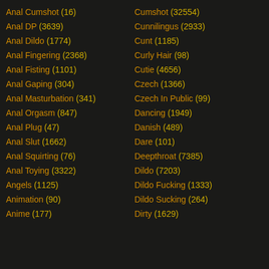Anal Cumshot (16)
Anal DP (3639)
Anal Dildo (1774)
Anal Fingering (2368)
Anal Fisting (1101)
Anal Gaping (304)
Anal Masturbation (341)
Anal Orgasm (847)
Anal Plug (47)
Anal Slut (1662)
Anal Squirting (76)
Anal Toying (3322)
Angels (1125)
Animation (90)
Anime (177)
Cumshot (32554)
Cunnilingus (2933)
Cunt (1185)
Curly Hair (98)
Cutie (4656)
Czech (1366)
Czech In Public (99)
Dancing (1949)
Danish (489)
Dare (101)
Deepthroat (7385)
Dildo (7203)
Dildo Fucking (1333)
Dildo Sucking (264)
Dirty (1629)